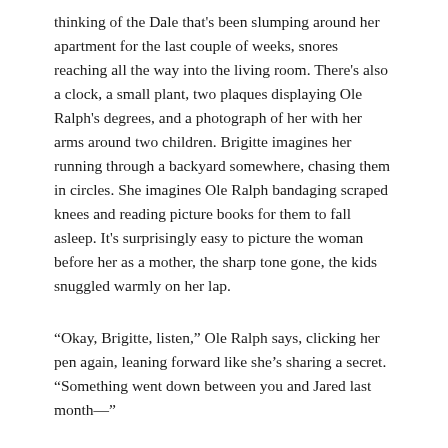thinking of the Dale that's been slumping around her apartment for the last couple of weeks, snores reaching all the way into the living room. There's also a clock, a small plant, two plaques displaying Ole Ralph's degrees, and a photograph of her with her arms around two children. Brigitte imagines her running through a backyard somewhere, chasing them in circles. She imagines Ole Ralph bandaging scraped knees and reading picture books for them to fall asleep. It's surprisingly easy to picture the woman before her as a mother, the sharp tone gone, the kids snuggled warmly on her lap.
“Okay, Brigitte, listen,” Ole Ralph says, clicking her pen again, leaning forward like she’s sharing a secret. “Something went down between you and Jared last month—”